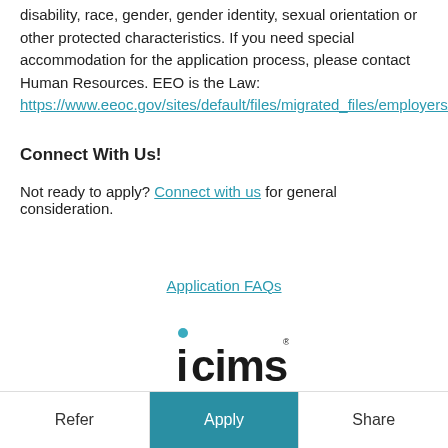disability, race, gender, gender identity, sexual orientation or other protected characteristics. If you need special accommodation for the application process, please contact Human Resources. EEO is the Law: https://www.eeoc.gov/sites/default/files/migrated_files/employers/p
Connect With Us!
Not ready to apply? Connect with us for general consideration.
Application FAQs
[Figure (logo): iCIMS logo with teal dot above lowercase 'i' and bold dark text 'icims']
Refer | Apply | Share